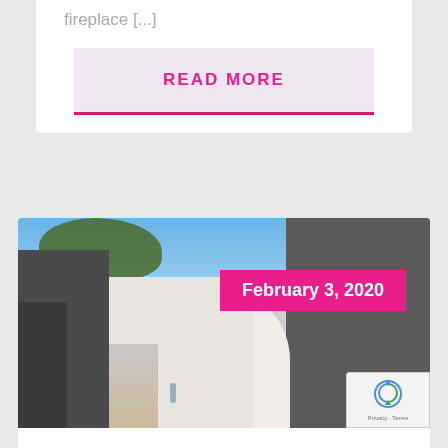fireplace [...]
READ MORE
[Figure (photo): Architectural exterior photo showing a white brick building with dome structure along an alleyway, dark building on right, trees overhead, person walking in alley. Date badge overlay reads February 3, 2020.]
February 3, 2020